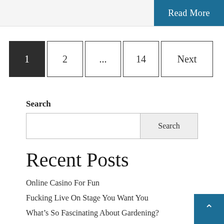Read More
1  2  ...  14  Next
Search
Search (input and button)
Recent Posts
Online Casino For Fun
Fucking Live On Stage You Want You
What's So Fascinating About Gardening?